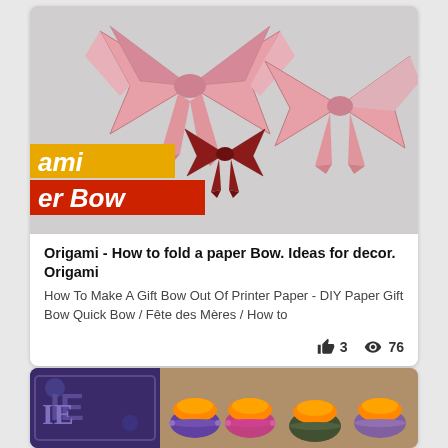[Figure (photo): Photo of origami paper bows on a gray surface. Two large pink paper bows and one small dark red/maroon paper bow. Overlay text labels: 'ami' on yellow background and 'er Bow' on red background on the left side.]
Origami - How to fold a paper Bow. Ideas for decor. Origami
How To Make A Gift Bow Out Of Printer Paper - DIY Paper Gift Bow Quick Bow / Fête des Mères / How to
3  76
[Figure (photo): Two-panel image: left panel shows a dark blue/purple decorative item with letter designs, right panel shows colorful candle holders with orange candles decorated with beaded/embroidered rims in purple, pink, green, and bronze colors.]